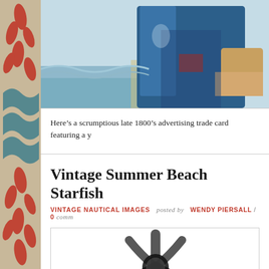[Figure (illustration): Partial view of a vintage late 1800s advertising trade card showing a person in a blue coat/jacket, with a coastal/beach background with water and sky visible]
Here's a scrumptious late 1800's advertising trade card featuring a y
Vintage Summer Beach Starfish
VINTAGE NAUTICAL IMAGES  posted by  WENDY PIERSALL / 0 comm
[Figure (illustration): Vintage black and white illustration of a starfish (sea star), partially visible, showing dotted/stippled texture pattern]